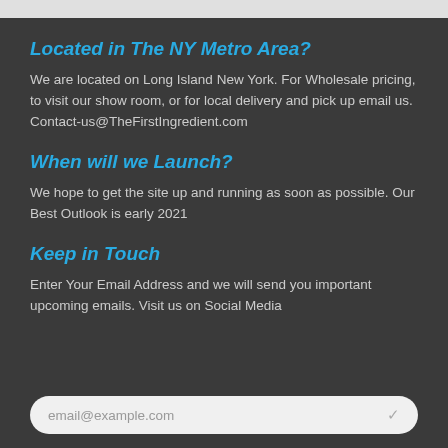Located in The NY Metro Area?
We are located on Long Island New York. For Wholesale pricing, to visit our show room, or for local delivery and pick up email us. Contact-us@TheFirstIngredient.com
When will we Launch?
We hope to get the site up and running as soon as possible. Our Best Outlook is early 2021
Keep in Touch
Enter Your Email Address and we will send you important upcoming emails. Visit us on Social Media
email@example.com